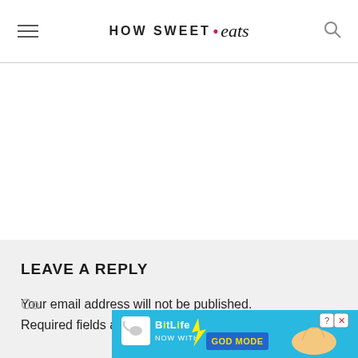HOW SWEET • eats
LEAVE A REPLY
Your email address will not be published. Required fields are marked *
[Figure (screenshot): BitLife advertisement banner: 'NOW WITH GOD MODE' with cartoon hand pointing, on blue background with BitLife logo]